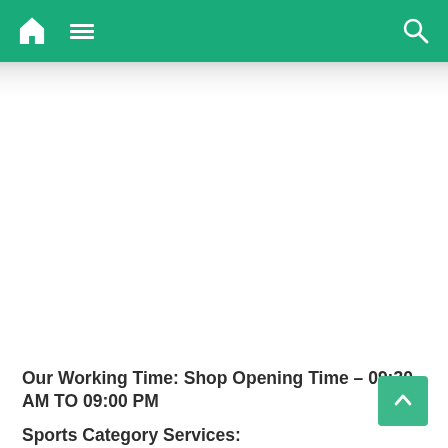Navigation bar with home icon, menu icon, and search icon
Our Working Time: Shop Opening Time – 09:30 AM TO 09:00 PM
Sports Category Services: